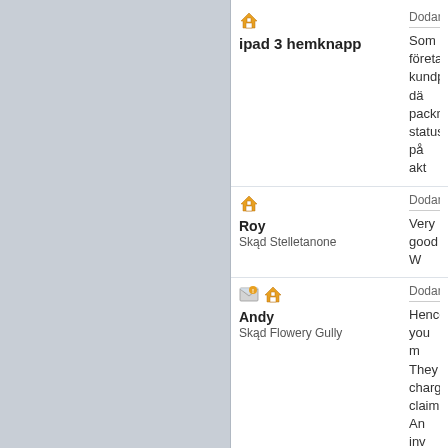ipad 3 hemknapp | Dodany: czw, 1... | Som företags kundportal dä packmaterial status på akt
Roy | Skąd Stelletanone | Dodany: czw, 1... | Very good W
Andy | Skąd Flowery Gully | Dodany: czw, 1... | Hence, you m They charge claim. An inv advantage as accident.
Mandy | Skąd Muntschemier | Dodany: czw, 1... | Many thanks
Mariel | Skąd Saint-Medard-En-Jalles | Dodany: czw, 1...